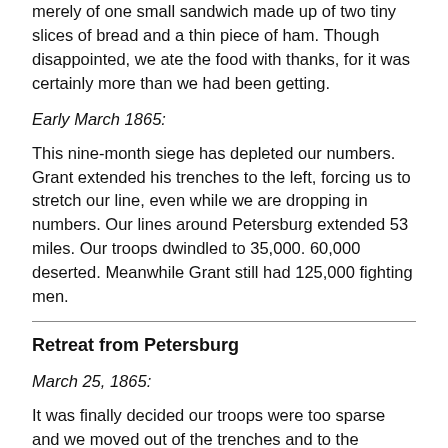merely of one small sandwich made up of two tiny slices of bread and a thin piece of ham. Though disappointed, we ate the food with thanks, for it was certainly more than we had been getting.
Early March 1865:
This nine-month siege has depleted our numbers. Grant extended his trenches to the left, forcing us to stretch our line, even while we are dropping in numbers. Our lines around Petersburg extended 53 miles. Our troops dwindled to 35,000. 60,000 deserted. Meanwhile Grant still had 125,000 fighting men.
Retreat from Petersburg
March 25, 1865:
It was finally decided our troops were too sparse and we moved out of the trenches and to the southwest to link up with Johnston in the hills of North Carolina. However, we first mounted a sudden night attack, trying to drive into the Yanks' rear area by attacking an earthwork called Fort